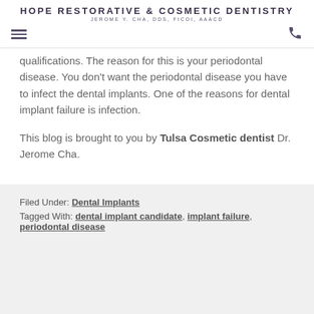HOPE RESTORATIVE & COSMETIC DENTISTRY
JEROME Y. CHA, DDS, FICOI, AAACD
qualifications. The reason for this is your periodontal disease. You don't want the periodontal disease you have to infect the dental implants. One of the reasons for dental implant failure is infection.
This blog is brought to you by Tulsa Cosmetic dentist Dr. Jerome Cha.
Filed Under: Dental Implants
Tagged With: dental implant candidate, implant failure, periodontal disease